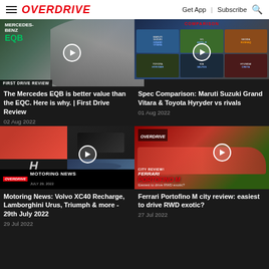OVERDRIVE | Get App | Subscribe
[Figure (photo): Mercedes-Benz EQB First Drive Review thumbnail with play button]
The Mercedes EQB is better value than the EQC. Here is why. | First Drive Review
02 Aug 2022
[Figure (photo): Spec Comparison: Maruti Suzuki Grand Vitara & Toyota Hyryder vs rivals thumbnail showing multiple cars]
Spec Comparison: Maruti Suzuki Grand Vitara & Toyota Hyryder vs rivals
01 Aug 2022
[Figure (photo): Motoring News July 29, 2022 thumbnail with Overdrive branding, showing Volvo, Lamborghini Urus, Honda, and motorcycle]
Motoring News: Volvo XC40 Recharge, Lamborghini Urus, Triumph & more - 29th July 2022
29 Jul 2022
[Figure (photo): Ferrari Portofino M city review thumbnail with play button - Easiest to drive RWD exotic?]
Ferrari Portofino M city review: easiest to drive RWD exotic?
27 Jul 2022